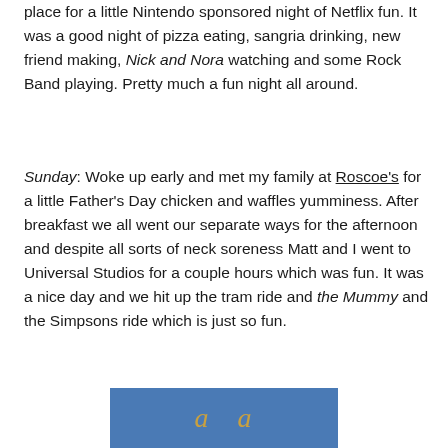place for a little Nintendo sponsored night of Netflix fun. It was a good night of pizza eating, sangria drinking, new friend making, Nick and Nora watching and some Rock Band playing. Pretty much a fun night all around.
Sunday: Woke up early and met my family at Roscoe's for a little Father's Day chicken and waffles yumminess. After breakfast we all went our separate ways for the afternoon and despite all sorts of neck soreness Matt and I went to Universal Studios for a couple hours which was fun. It was a nice day and we hit up the tram ride and the Mummy and the Simpsons ride which is just so fun.
[Figure (photo): Partial view of an image with blue background and stylized letters visible at the bottom of the page]